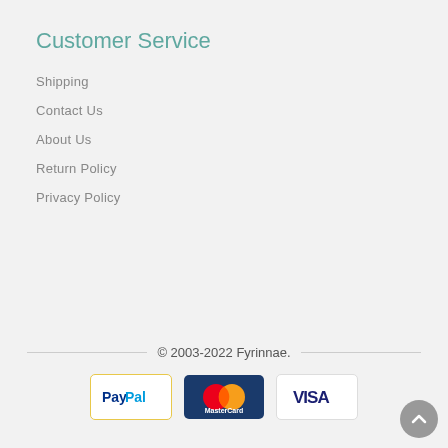Customer Service
Shipping
Contact Us
About Us
Return Policy
Privacy Policy
© 2003-2022 Fyrinnae.
[Figure (logo): PayPal, MasterCard, and VISA payment logos]